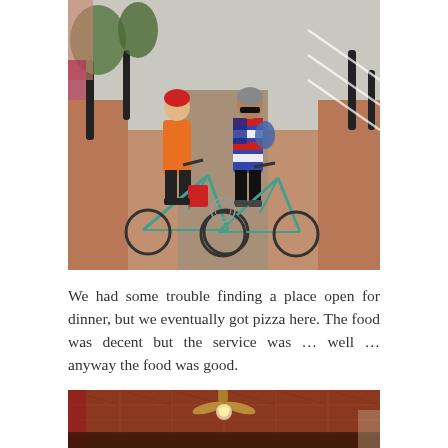[Figure (photo): Two cyclists with helmets standing with their bicycles on a brick pedestrian walkway/plaza. The person on the left wears an orange shirt and a red helmet; the person on the right wears a patriotic/American flag cycling jersey and a grey helmet with sunglasses. Both have cycling gloves and shoes. The background shows a urban plaza with bollards and diagonal parking stripes painted on the ground.]
We had some trouble finding a place open for dinner, but we eventually got pizza here. The food was decent but the service was … well … anyway the food was good.
[Figure (photo): Interior photo of a restaurant showing a decorative tin ceiling with a ceiling fan and light fixture. The ceiling has a copper/reddish-brown embossed metal tile pattern. Lower portion shows some restaurant furnishings.]